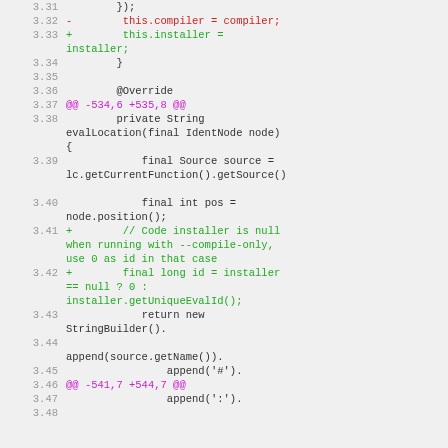[Figure (screenshot): Code diff view showing lines 3.31 through 3.48 of a source file. Lines show Java code with diff markers: removed line (red) for this.compiler = compiler, added lines (green) for installer assignment, comment about null installer, and long id calculation. Hunk headers shown in magenta.]